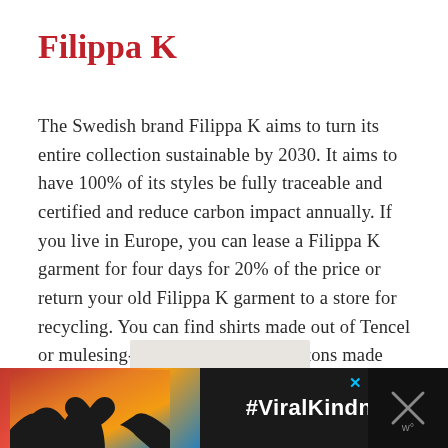Filippa K
The Swedish brand Filippa K aims to turn its entire collection sustainable by 2030. It aims to have 100% of its styles be fully traceable and certified and reduce carbon impact annually. If you live in Europe, you can lease a Filippa K garment for four days for 20% of the price or return your old Filippa K garment to a store for recycling. You can find shirts made out of Tencel or mulesing-free wool and with buttons made from recycled polyester, and recycled mother of pearl.
[Figure (photo): Advertisement banner with dark background showing hands forming a heart shape silhouette against a colorful sunset sky, with text '#ViralKindness' in white bold font and a blue X close button, plus a dismiss icon on the right.]